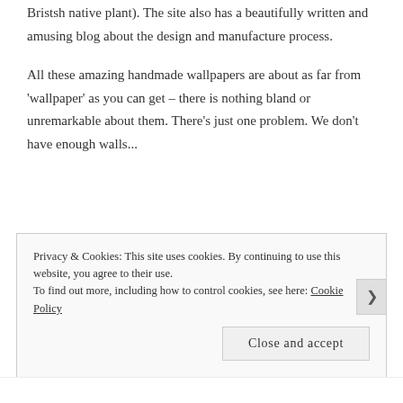Bristsh native plant). The site also has a beautifully written and amusing blog about the design and manufacture process.
All these amazing handmade wallpapers are about as far from 'wallpaper' as you can get – there is nothing bland or unremarkable about them. There's just one problem. We don't have enough walls...
Privacy & Cookies: This site uses cookies. By continuing to use this website, you agree to their use. To find out more, including how to control cookies, see here: Cookie Policy
Close and accept